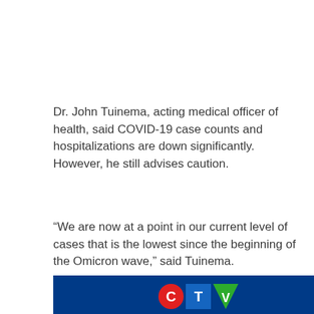Dr. John Tuinema, acting medical officer of health, said COVID-19 case counts and hospitalizations are down significantly. However, he still advises caution.
“We are now at a point in our current level of cases that is the lowest since the beginning of the Omicron wave,” said Tuinema.
[Figure (screenshot): CTV News logo on a dark blue background showing the CTV logo with a red circle C, blue square T, and green triangle V.]